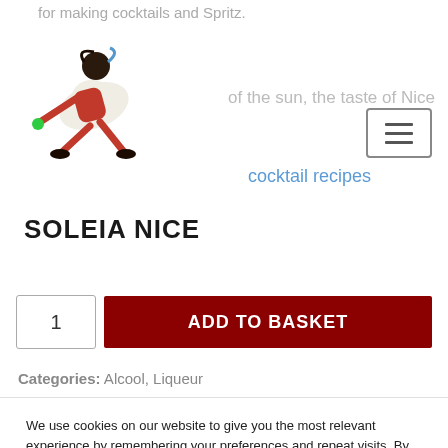for making cocktails and Spritz.
[Figure (logo): Soleia Nice brand logo showing a stylized figure of a woman in motion wearing white dress, reaching forward]
of the sun, the taste of Nice
cocktail recipes
SOLEIA NICE
1  ADD TO BASKET
Categories: Alcool, Liqueur
We use cookies on our website to give you the most relevant experience by remembering your preferences and repeat visits. By clicking “Accept All”, you consent to the use of ALL the cookies. However, you may visit “Cookie Settings” to provide a controlled consent.
Cookie Settings   Accept All